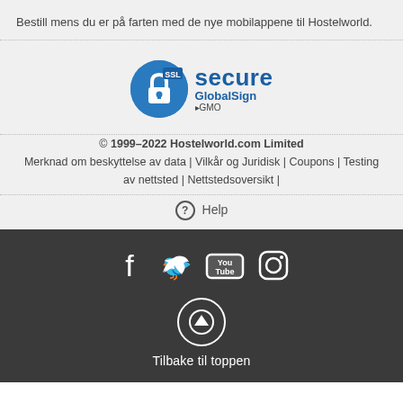Bestill mens du er på farten med de nye mobilappene til Hostelworld.
[Figure (logo): SSL Secure GlobalSign by GMO badge/logo]
© 1999–2022 Hostelworld.com Limited
Merknad om beskyttelse av data | Vilkår og Juridisk | Coupons | Testing av nettsted | Nettstedsoversikt |
Help
[Figure (infographic): Social media icons: Facebook, Twitter, YouTube, Instagram]
Tilbake til toppen